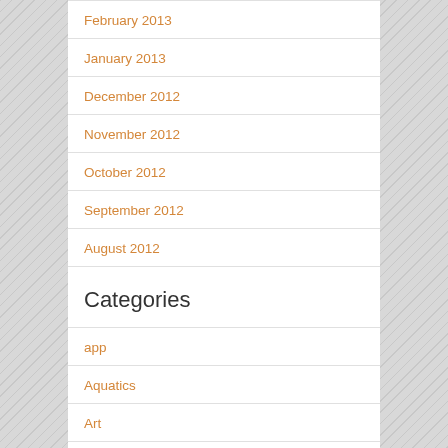February 2013
January 2013
December 2012
November 2012
October 2012
September 2012
August 2012
Categories
app
Aquatics
Art
Beaches
Books